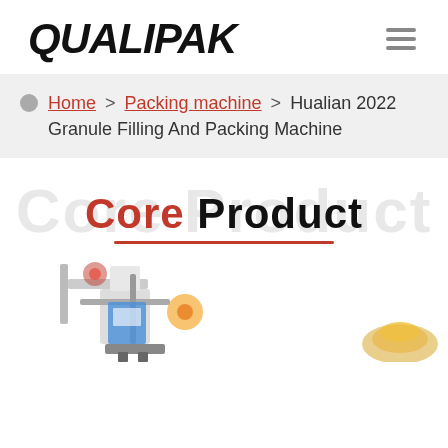[Figure (logo): QUALIPAK logo in bold italic black capital letters]
Home > Packing machine > Hualian 2022 Granule Filling And Packing Machine
[Figure (infographic): Core Product text banner with red underline, background shadow text]
[Figure (photo): Partial view of packaging machines at the bottom of the page]